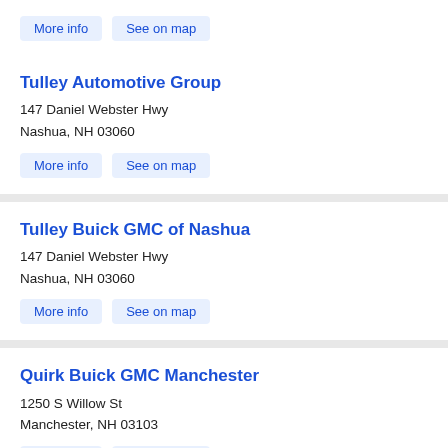More info  See on map
Tulley Automotive Group
147 Daniel Webster Hwy
Nashua, NH 03060
More info  See on map
Tulley Buick GMC of Nashua
147 Daniel Webster Hwy
Nashua, NH 03060
More info  See on map
Quirk Buick GMC Manchester
1250 S Willow St
Manchester, NH 03103
More info  See on map